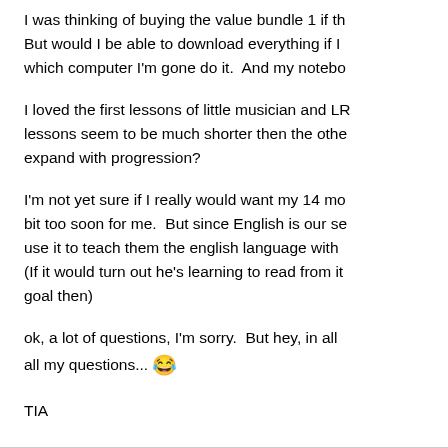I was thinking of buying the value bundle 1 if th... But would I be able to download everything if I... which computer I'm gone do it.  And my notebo...
I loved the first lessons of little musician and LR... lessons seem to be much shorter then the othe... expand with progression?
I'm not yet sure if I really would want my 14 mo... bit too soon for me.  But since English is our se... use it to teach them the english language with ... (If it would turn out he's learning to read from it... goal then)
ok, a lot of questions, I'm sorry.  But hey, in all ... all my questions... 😂
TIA